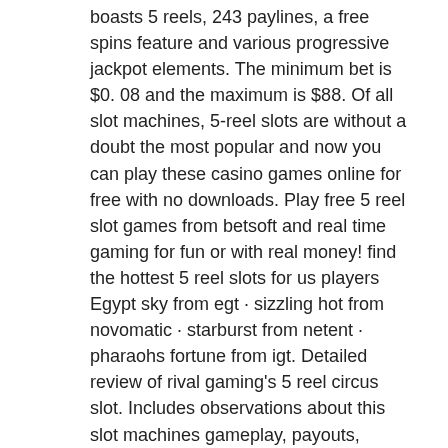boasts 5 reels, 243 paylines, a free spins feature and various progressive jackpot elements. The minimum bet is $0. 08 and the maximum is $88. Of all slot machines, 5-reel slots are without a doubt the most popular and now you can play these casino games online for free with no downloads. Play free 5 reel slot games from betsoft and real time gaming for fun or with real money! find the hottest 5 reel slots for us players Egypt sky from egt · sizzling hot from novomatic · starburst from netent · pharaohs fortune from igt. Detailed review of rival gaming's 5 reel circus slot. Includes observations about this slot machines gameplay, payouts, symbols, and free to play demo! Free 5 reel slot games ; 300 shields ; 5 reel drive ; a night out ; achilles ; adventure palace. How to play 5 reel slots. 5 reels slot are by far the most popular online video slot machines available in casinos. Gamers can learn how to play.